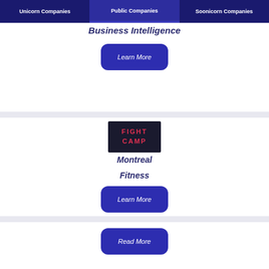Unicorn Companies | Public Companies | Soonicorn Companies
Business Intelligence
Learn More
[Figure (logo): FightCamp logo: dark background with FIGHT CAMP text in red]
Montreal
Fitness
Learn More
Read More